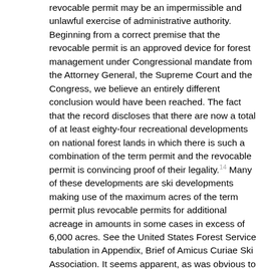revocable permit may be an impermissible and unlawful exercise of administrative authority. Beginning from a correct premise that the revocable permit is an approved device for forest management under Congressional mandate from the Attorney General, the Supreme Court and the Congress, we believe an entirely different conclusion would have been reached. The fact that the record discloses that there are now a total of at least eighty-four recreational developments on national forest lands in which there is such a combination of the term permit and the revocable permit is convincing proof of their legality.[14] Many of these developments are ski developments making use of the maximum acres of the term permit plus revocable permits for additional acreage in amounts in some cases in excess of 6,000 acres. See the United States Forest Service tabulation in Appendix, Brief of Amicus Curiae Ski Association. It seems apparent, as was obvious to both Senate and House Committees, that the eighty-acre long-term permit was a necessity to obtain proper financing for substantial permanent improvements, while developments of less magnitude and permanency, such as trails, slopes, corrals, could be placed upon lands held under revocable permits.[15] We find no indication in those reports that ski lifts are limited to the term permits. The planned development in the instant case discloses that most major